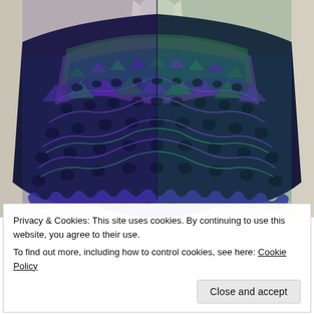[Figure (photo): A lace knit or crochet shawl/wrap displayed on a mannequin, viewed from the back. The shawl features an intricate open-work lace pattern with triangular/floral motifs in variegated purple, green, and blue yarn, with a decorative scalloped edging along the bottom. The background is a pale cream/beige color.]
Privacy & Cookies: This site uses cookies. By continuing to use this website, you agree to their use.
To find out more, including how to control cookies, see here: Cookie Policy
Close and accept